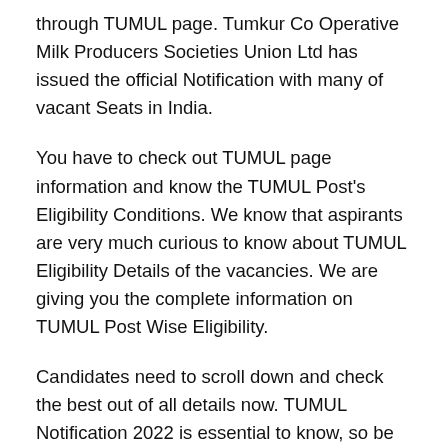through TUMUL page. Tumkur Co Operative Milk Producers Societies Union Ltd has issued the official Notification with many of vacant Seats in India.
You have to check out TUMUL page information and know the TUMUL Post's Eligibility Conditions. We know that aspirants are very much curious to know about TUMUL Eligibility Details of the vacancies. We are giving you the complete information on TUMUL Post Wise Eligibility.
Candidates need to scroll down and check the best out of all details now. TUMUL Notification 2022 is essential to know, so be aware all the time to know that.